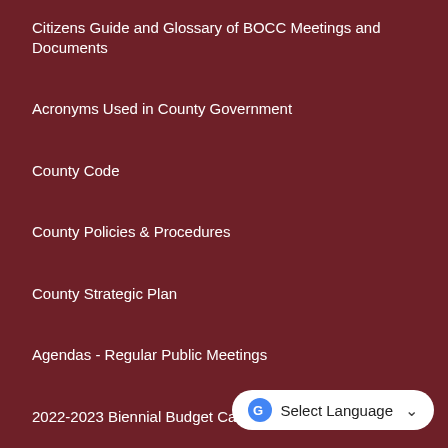Citizens Guide and Glossary of BOCC Meetings and Documents
Acronyms Used in County Government
County Code
County Policies & Procedures
County Strategic Plan
Agendas - Regular Public Meetings
2022-2023 Biennial Budget Calendar
Commissioner's Public Records